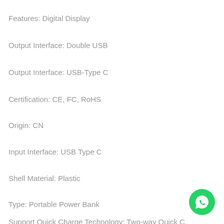Features: Digital Display
Output Interface: Double USB
Output Interface: USB-Type C
Certification: CE, FC, RoHS
Origin: CN
Input Interface: USB Type C
Shell Material: Plastic
Type: Portable Power Bank
Support Quick Charge Technology: Two-way Quick C